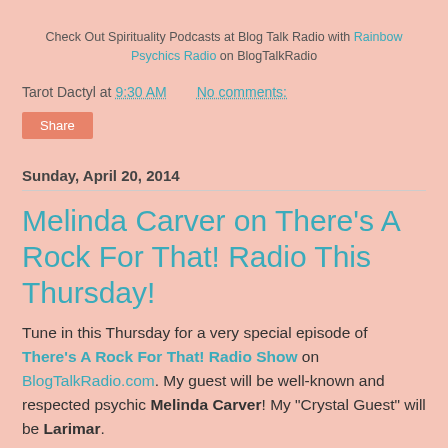Check Out Spirituality Podcasts at Blog Talk Radio with Rainbow Psychics Radio on BlogTalkRadio
Tarot Dactyl at 9:30 AM    No comments:
Share
Sunday, April 20, 2014
Melinda Carver on There's A Rock For That! Radio This Thursday!
Tune in this Thursday for a very special episode of There's A Rock For That! Radio Show on BlogTalkRadio.com. My guest will be well-known and respected psychic Melinda Carver! My "Crystal Guest" will be Larimar.
[Figure (photo): Photo with red/dark background, partially visible, bottom of page]